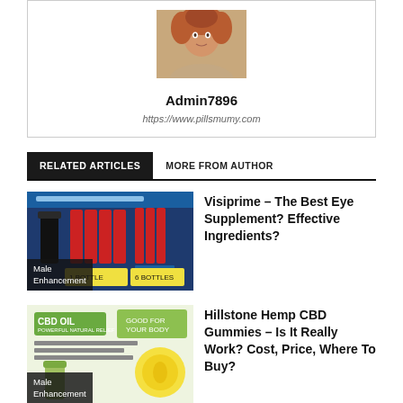[Figure (photo): Author profile photo of Admin7896, a woman with curly red/auburn hair]
Admin7896
https://www.pillsmumy.com
RELATED ARTICLES   MORE FROM AUTHOR
[Figure (photo): Thumbnail image for Visiprime eye supplement article showing product bottles, with 'Male Enhancement' label overlay]
Visiprime – The Best Eye Supplement? Effective Ingredients?
[Figure (photo): Thumbnail image for Hillstone Hemp CBD Gummies article showing CBD oil product, with 'Male Enhancement' label overlay]
Hillstone Hemp CBD Gummies – Is It Really Work? Cost, Price, Where To Buy?
[Figure (photo): Thumbnail image for Terra Xtreet CBD Gummies article (partially visible)]
Terra Xtreet CBD Gummies – Is It